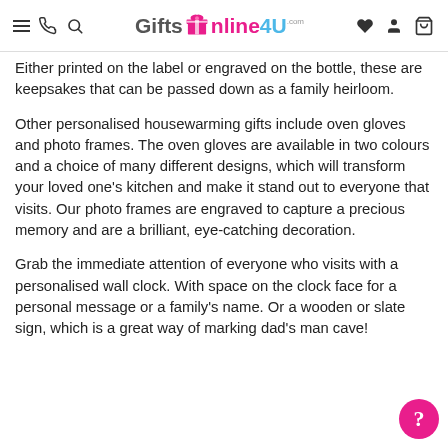GiftsOnline4U.com navigation header
Either printed on the label or engraved on the bottle, these are keepsakes that can be passed down as a family heirloom.
Other personalised housewarming gifts include oven gloves and photo frames. The oven gloves are available in two colours and a choice of many different designs, which will transform your loved one’s kitchen and make it stand out to everyone that visits. Our photo frames are engraved to capture a precious memory and are a brilliant, eye-catching decoration.
Grab the immediate attention of everyone who visits with a personalised wall clock. With space on the clock face for a personal message or a family’s name. Or a wooden or slate sign, which is a great way of marking dad’s man cave!